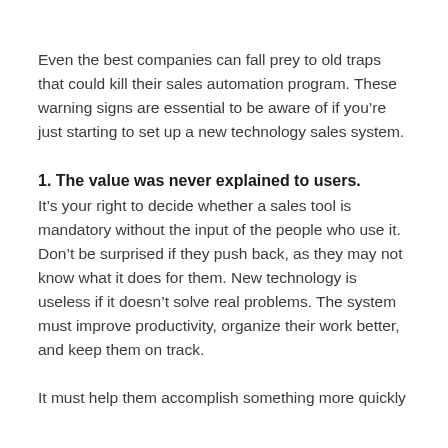Even the best companies can fall prey to old traps that could kill their sales automation program. These warning signs are essential to be aware of if you're just starting to set up a new technology sales system.
1. The value was never explained to users.
It's your right to decide whether a sales tool is mandatory without the input of the people who use it. Don't be surprised if they push back, as they may not know what it does for them. New technology is useless if it doesn't solve real problems. The system must improve productivity, organize their work better, and keep them on track.
It must help them accomplish something more quickly